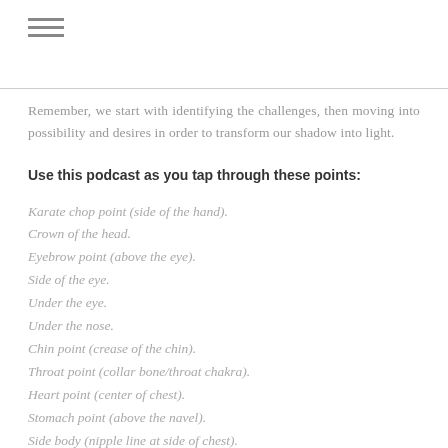≡
Remember, we start with identifying the challenges, then moving into possibility and desires in order to transform our shadow into light.
Use this podcast as you tap through these points:
Karate chop point (side of the hand).
Crown of the head.
Eyebrow point (above the eye).
Side of the eye.
Under the eye.
Under the nose.
Chin point (crease of the chin).
Throat point (collar bone/throat chakra).
Heart point (center of chest).
Stomach point (above the navel).
Side body (nipple line at side of chest).